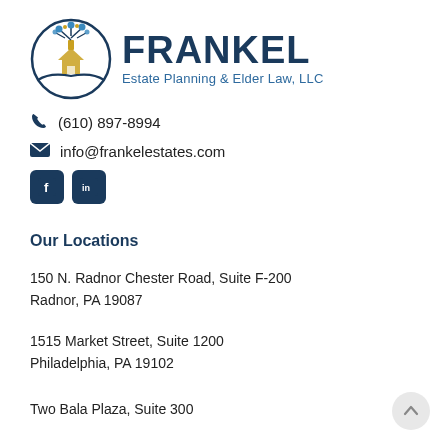[Figure (logo): Frankel Estate Planning & Elder Law, LLC logo with tree and hands inside circle, and company name text]
(610) 897-8994
info@frankelestates.com
[Figure (other): Facebook and LinkedIn social media icons]
Our Locations
150 N. Radnor Chester Road, Suite F-200
Radnor, PA 19087
1515 Market Street, Suite 1200
Philadelphia, PA 19102
Two Bala Plaza, Suite 300